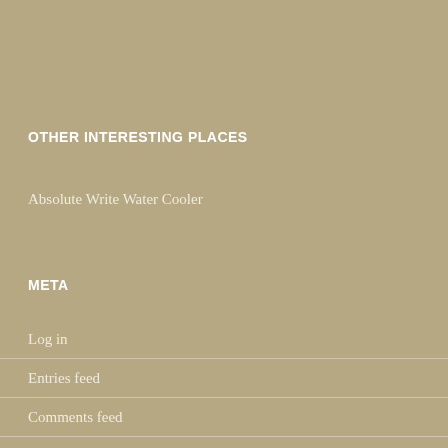OTHER INTERESTING PLACES
Absolute Write Water Cooler
META
Log in
Entries feed
Comments feed
WordPress.org